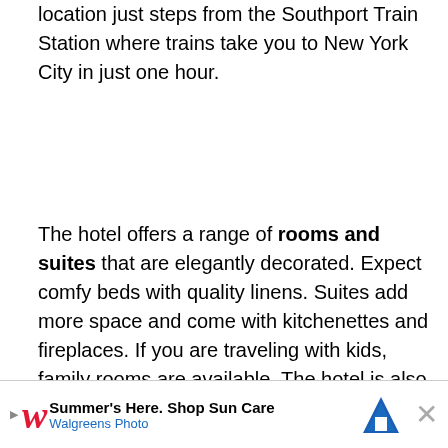location just steps from the Southport Train Station where trains take you to New York City in just one hour.
The hotel offers a range of rooms and suites that are elegantly decorated. Expect comfy beds with quality linens. Suites add more space and come with kitchenettes and fireplaces. If you are traveling with kids, family rooms are available. The hotel is also pet friendly.
Grab a bite to eat at the on-site Artisan Restaurant. It cooks up farm-to-table tavern fare with a menu that rotates with the seasons. There is also a fitness cent... shower fo...
[Figure (other): Advertisement banner for Walgreens Photo: 'Summer's Here. Shop Sun Care' with Walgreens logo, navigation icon, and close button.]